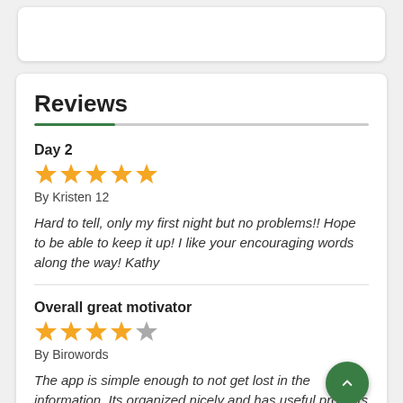Reviews
Day 2
By Kristen 12
Hard to tell, only my first night but no problems!! Hope to be able to keep it up! I like your encouraging words along the way! Kathy
Overall great motivator
By Birowords
The app is simple enough to not get lost in the information. Its organized nicely and has useful prompts and the timer with the information of the stages of fasting is terrific. Feedback: I get a